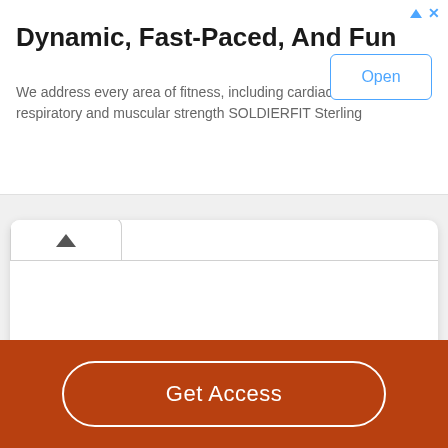Dynamic, Fast-Paced, And Fun
We address every area of fitness, including cardiac respiratory and muscular strength SOLDIERFIT Sterling
[Figure (screenshot): Ad banner with Open button, chevron tab card area, and Get Access button on orange-brown background]
Get Access